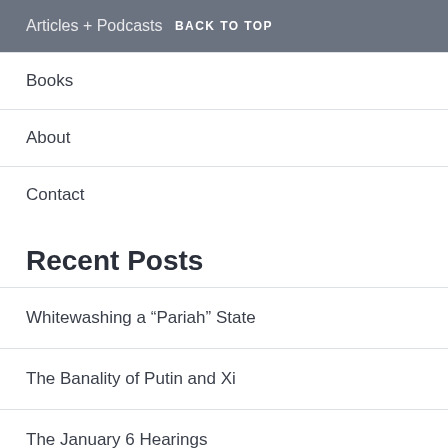Articles + Podcasts  BACK TO TOP
Books
About
Contact
Recent Posts
Whitewashing a “Pariah” State
The Banality of Putin and Xi
The January 6 Hearings
Jonah Goldberg, Ayn Rand and Conservative Religiosity